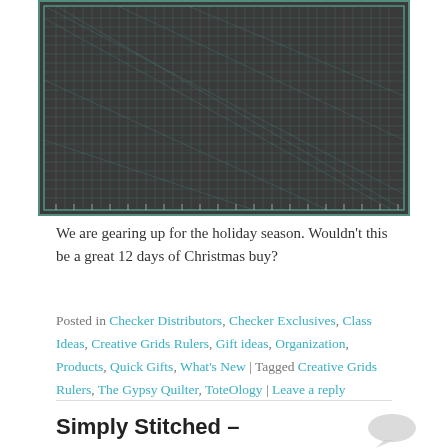[Figure (photo): A green cutting mat with grid lines, ruler markings, and diagonal angle guides, typical of a quilting/sewing cutting mat.]
We are gearing up for the holiday season. Wouldn't this be a great 12 days of Christmas buy?
Posted in Checker Distributors, Checker Exclusives, Class Ideas, Creative Grids Rulers, Gift ideas, Organization, Products, Quick Gifts, What's New | Tagged Creative Grids Rulers, The Gypsy Quilter, ToteOlogy | Leave a reply
Simply Stitched –